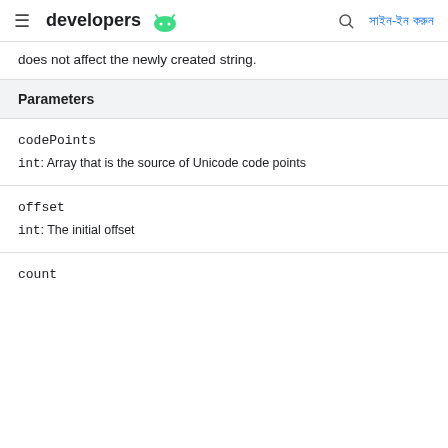developers [android icon] সাইন-ইন করুন
does not affect the newly created string.
| Parameters |
| --- |
| codePoints | int: Array that is the source of Unicode code points |
| offset | int: The initial offset |
| count |  |